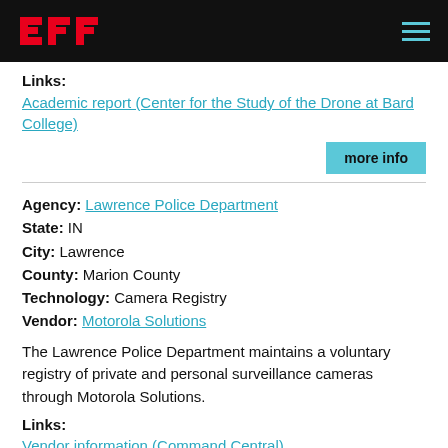EFF
Links:
Academic report (Center for the Study of the Drone at Bard College)
more info
Agency: Lawrence Police Department
State: IN
City: Lawrence
County: Marion County
Technology: Camera Registry
Vendor: Motorola Solutions
The Lawrence Police Department maintains a voluntary registry of private and personal surveillance cameras through Motorola Solutions.
Links:
Vendor information (Command Central)